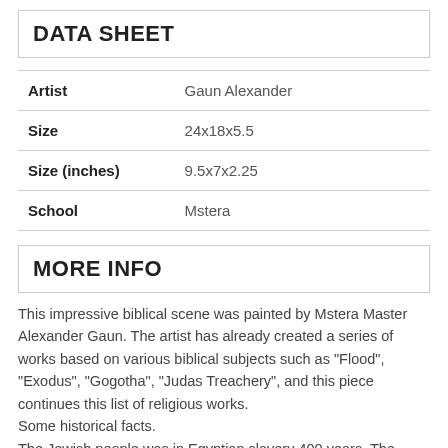DATA SHEET
| Artist | Gaun Alexander |
| Size | 24x18x5.5 |
| Size (inches) | 9.5x7x2.25 |
| School | Mstera |
MORE INFO
This impressive biblical scene was painted by Mstera Master Alexander Gaun. The artist has already created a series of works based on various biblical subjects such as "Flood", "Exodus", "Gogotha", "Judas Treachery", and this piece continues this list of religious works.
Some historical facts.
The Jewish people was in Egyptian slavery 400 years. The mere